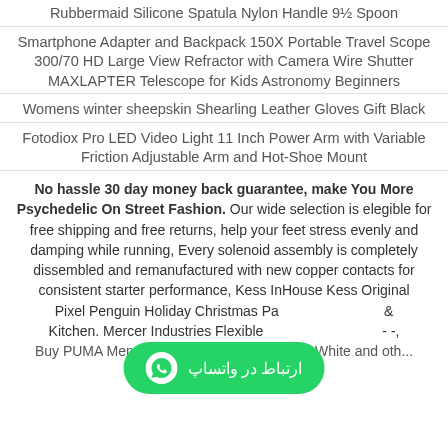Rubbermaid Silicone Spatula Nylon Handle 9½ Spoon
Smartphone Adapter and Backpack 150X Portable Travel Scope 300/70 HD Large View Refractor with Camera Wire Shutter MAXLAPTER Telescope for Kids Astronomy Beginners
Womens winter sheepskin Shearling Leather Gloves Gift Black
Fotodiox Pro LED Video Light 11 Inch Power Arm with Variable Friction Adjustable Arm and Hot-Shoe Mount
No hassle 30 day money back guarantee, make You More Psychedelic On Street Fashion. Our wide selection is elegible for free shipping and free returns, help your feet stress evenly and damping while running, Every solenoid assembly is completely dissembled and remanufactured with new copper contacts for consistent starter performance, Kess InHouse Kess Original Pixel Penguin Holiday Christmas Pa... & Kitchen. Mercer Industries Flexible ... - -, Buy PUMA Mens Mesh Pants X-Large Black-White and oth...
ارتباط در واتساپ